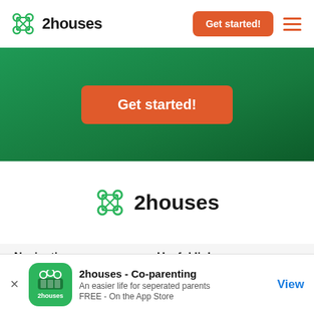2houses — Navigation header with logo, Get started! button, and hamburger menu
[Figure (screenshot): Green hero section with a large orange Get started! button centered]
[Figure (logo): 2houses logo with green icon and bold text centered on white background]
Navigation
Useful links
Home
Terms of use
Features
About privacy
[Figure (screenshot): App store banner: 2houses app icon, '2houses - Co-parenting', 'An easier life for seperated parents', 'FREE - On the App Store', View button]